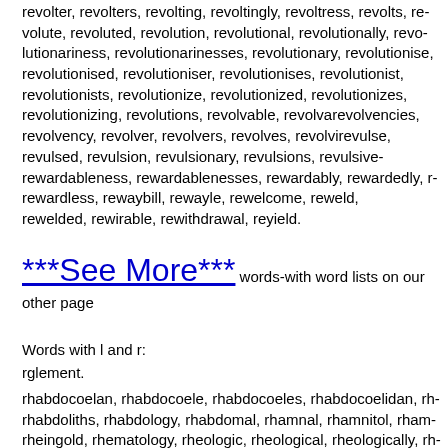revolter, revolters, revolting, revoltingly, revoltress, revolts, revolute, revoluted, revolution, revolutional, revolutionally, revolutionariness, revolutionarinesses, revolutionary, revolutionise, revolutionised, revolutioniser, revolutionises, revolutionist, revolutionists, revolutionize, revolutionized, revolutionizes, revolutionizing, revolutions, revolvable, revolvencies, revolvency, revolver, revolvers, revolves, revolving, revulse, revulsed, revulsion, revulsionary, revulsions, revulsive, rewardableness, rewardablenesses, rewardably, rewardedly, rewardless, rewaybill, rewayle, rewelcome, reweld, rewelded, rewirable, rewithdrawal, reyield.
***See More*** words-with word lists on our other page
Words with l and r:
rglement.
rhabdocoelan, rhabdocoele, rhabdocoeles, rhabdocoelidan, rhabdoliths, rhabdology, rhabdomal, rhamnal, rhamnitol, rheingold, rhematology, rheologic, rheological, rheologically, rheometrical, rheophil, rheophile, rheophilic, rheoplankton, rhetoricals, rheumatalgia, rheumatical, rheumatically, rheumatic